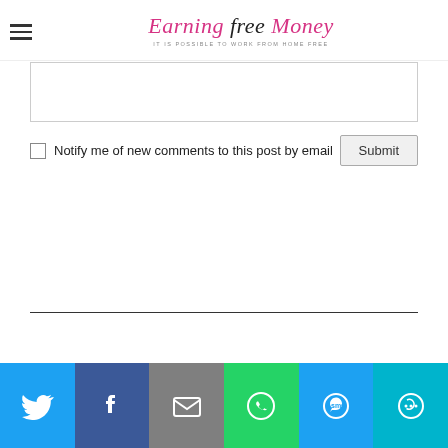Earning Free Money — IT IS POSSIBLE TO WORK FROM HOME FREE
[Comment textarea]
Notify me of new comments to this post by email  [Submit]
[horizontal rule]
[Search/input box]
[Figure (infographic): Social share bar with icons: Twitter (blue), Facebook (dark blue), Email (grey), WhatsApp (green), SMS (light blue), More (cyan)]